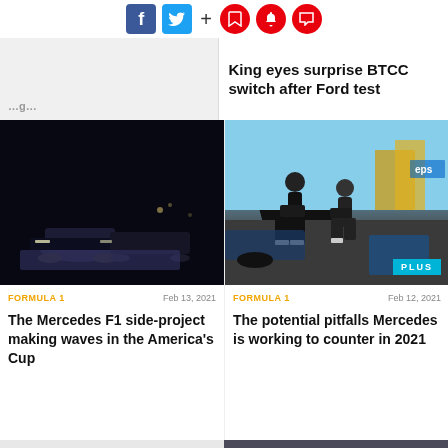[Figure (infographic): Social media sharing icons: Facebook (blue), Twitter (cyan), plus sign, and three red circular icons (bookmark, bell, chat)]
King eyes surprise BTCC switch after Ford test
[Figure (photo): Dark night-time Formula 1 race cars on track]
[Figure (photo): Mercedes pit crew practicing tire changes with PLUS badge overlay]
FORMULA 1   Feb 13, 2021
FORMULA 1   Feb 12, 2021
The Mercedes F1 side-project making waves in the America's Cup
The potential pitfalls Mercedes is working to counter in 2021
[Figure (photo): Partial bottom-left image, light background with partial vehicle]
[Figure (photo): Partial bottom-right image showing a person against sky]